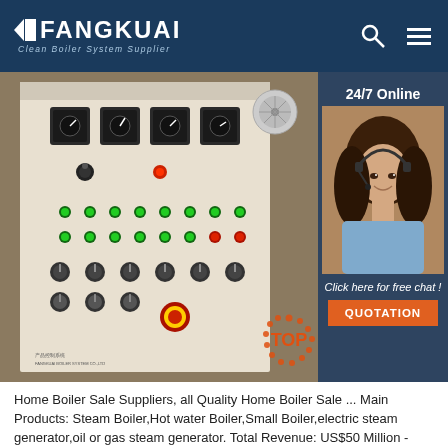FANGKUAI - Clean Boiler System Supplier
[Figure (photo): Boiler electrical control panel with gauges, switches, green and red buttons, and a yellow emergency stop button. Right side shows a 24/7 online chat agent (woman with headset) and a QUOTATION button over a dark blue background.]
Home Boiler Sale Suppliers, all Quality Home Boiler Sale ... Main Products: Steam Boiler,Hot water Boiler,Small Boiler,electric steam generator,oil or gas steam generator. Total Revenue: US$50 Million - US$100 Million. Top 3 Markets: Eastern Europe 10%, Domestic Market 9%, Mid East 9%. Tags: